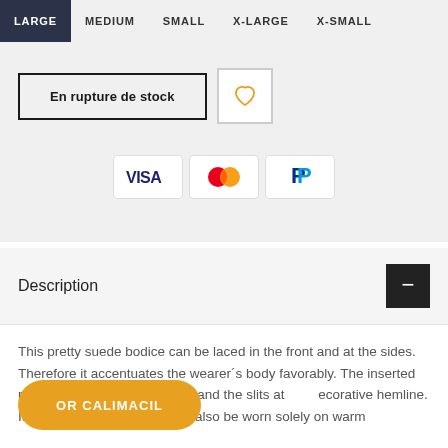LARGE | MEDIUM | SMALL | X-LARGE | X-SMALL
En rupture de stock
[Figure (infographic): Visa, Mastercard, and PayPal payment icons]
Description
This pretty suede bodice can be laced in the front and at the sides. Therefore it accentuates the wearer´s body favorably. The inserted rods give it additional stability and the slits at [...]ecorative hemline. It suits very well [...] but can also be worn solely on warm
OR CALIMACIL